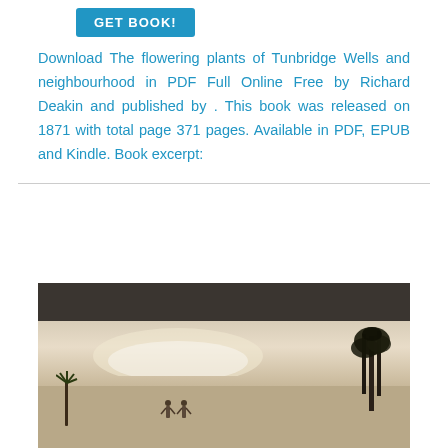[Figure (other): GET BOOK! button — blue rounded rectangle with white uppercase text]
Download The flowering plants of Tunbridge Wells and neighbourhood in PDF Full Online Free by Richard Deakin and published by . This book was released on 1871 with total page 371 pages. Available in PDF, EPUB and Kindle. Book excerpt:
[Figure (illustration): Book cover illustration showing a dark header bar above a sepia-toned tropical landscape scene with trees, palm trees, figures, water, and a bright sky]